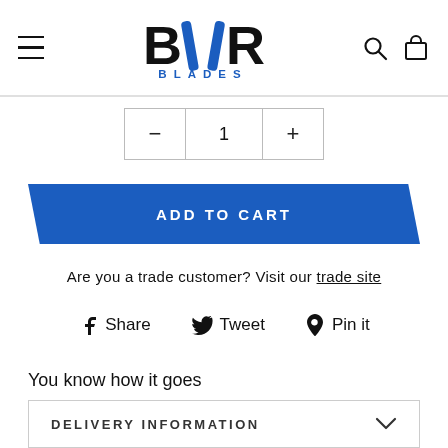[Figure (logo): Bar Blades logo with stylized 'BAR' in bold black text with blue bars forming the A, and 'BLADES' in blue letters below]
− 1 +
ADD TO CART
Are you a trade customer? Visit our trade site
Share  Tweet  Pin it
You know how it goes
DELIVERY INFORMATION